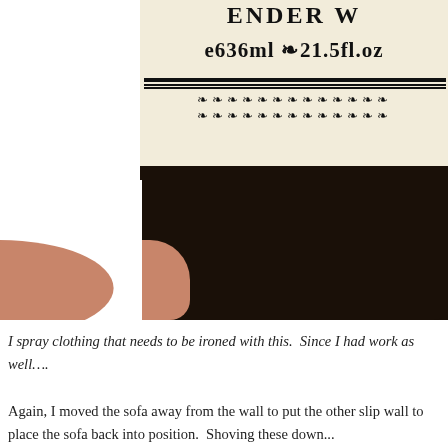[Figure (photo): Close-up photo of a hand holding a dark bottle with a cream/beige label showing 'e636ml 21.5fl.oz' text and decorative ornamental border. The bottle cap area is dark/black. Partial text visible at top reads 'ENDER W' (part of Lavender Water or similar).]
I spray clothing that needs to be ironed with this. Since I had work as well….
Again, I moved the sofa away from the wall to put the other slip wall to place the sofa back into position. Shoving these down...